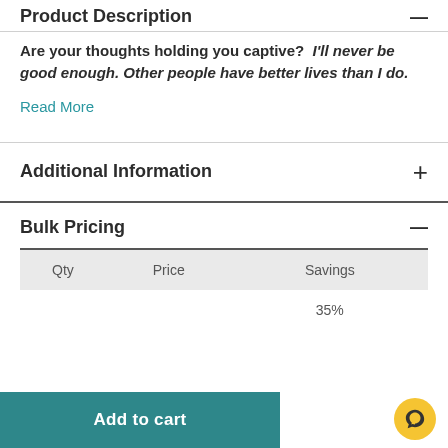Product Description
Are your thoughts holding you captive? I'll never be good enough. Other people have better lives than I do.
Read More
Additional Information
Bulk Pricing
| Qty | Price | Savings |
| --- | --- | --- |
|  |  | 35% |
Add to cart